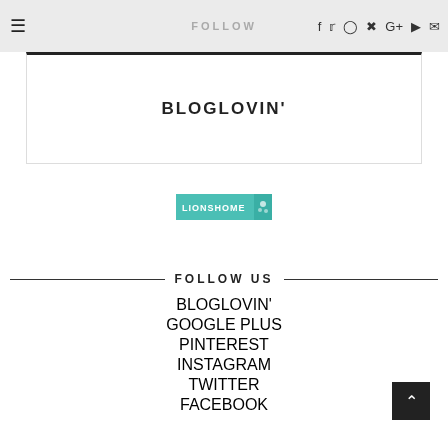FOLLOW
BLOGLOVIN'
[Figure (logo): LIONSHOME badge/logo in teal color]
FOLLOW US
BLOGLOVIN'
GOOGLE PLUS
PINTEREST
INSTAGRAM
TWITTER
FACEBOOK